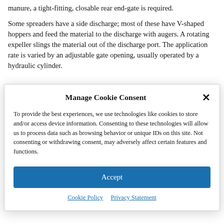manure, a tight-fitting, closable rear end-gate is required.
Some spreaders have a side discharge; most of these have V-shaped hoppers and feed the material to the discharge with augers. A rotating expeller slings the material out of the discharge port. The application rate is varied by an adjustable gate opening, usually operated by a hydraulic cylinder.
Manage Cookie Consent
To provide the best experiences, we use technologies like cookies to store and/or access device information. Consenting to these technologies will allow us to process data such as browsing behavior or unique IDs on this site. Not consenting or withdrawing consent, may adversely affect certain features and functions.
Accept
Cookie Policy   Privacy Statement